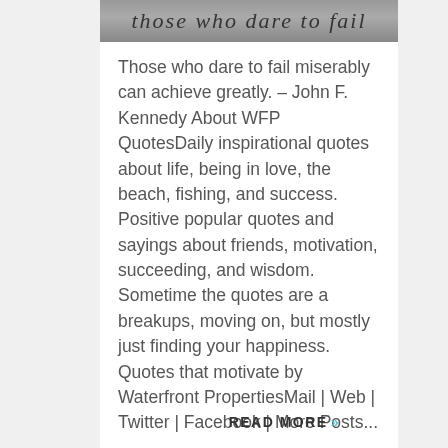[Figure (photo): Black and white photo strip at the top with cursive/handwritten text overlay]
Those who dare to fail miserably can achieve greatly. – John F. Kennedy About WFP QuotesDaily inspirational quotes about life, being in love, the beach, fishing, and success. Positive popular quotes and sayings about friends, motivation, succeeding, and wisdom. Sometime the quotes are a breakups, moving on, but mostly just finding your happiness. Quotes that motivate by Waterfront PropertiesMail | Web | Twitter | Facebook | More Posts...
READ MORE »